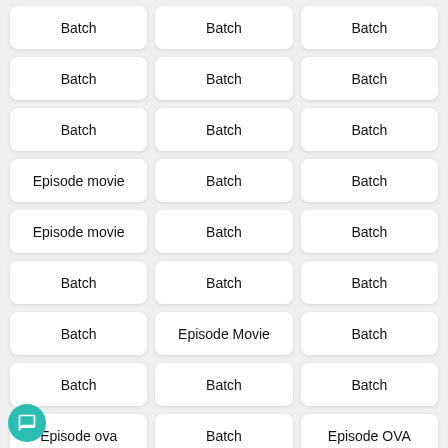Batch
Batch
Batch
Batch
Batch
Batch
Batch
Batch
Batch
Episode movie
Batch
Batch
Episode movie
Batch
Batch
Batch
Batch
Batch
Batch
Episode Movie
Batch
Batch
Batch
Batch
Episode ova
Batch
Episode OVA